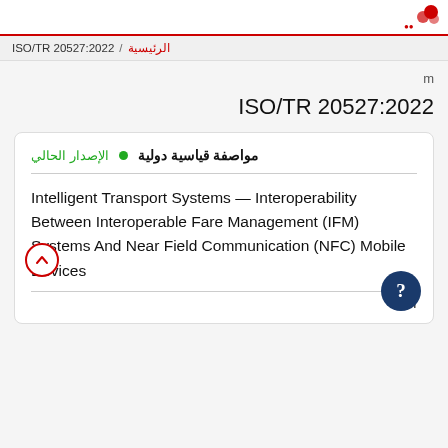ISO/TR 20527:2022 / الرئيسية
ISO/TR 20527:2022
مواصفة قياسية دولية • الإصدار الحالي
Intelligent Transport Systems — Interoperability Between Interoperable Fare Management (IFM) Systems And Near Field Communication (NFC) Mobile Devices